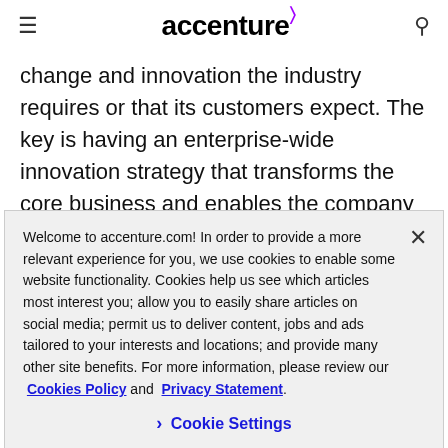accenture
change and innovation the industry requires or that its customers expect. The key is having an enterprise-wide innovation strategy that transforms the core business and enables the company to drive growth.”
Welcome to accenture.com! In order to provide a more relevant experience for you, we use cookies to enable some website functionality. Cookies help us see which articles most interest you; allow you to easily share articles on social media; permit us to deliver content, jobs and ads tailored to your interests and locations; and provide many other site benefits. For more information, please review our Cookies Policy and Privacy Statement.
Cookie Settings